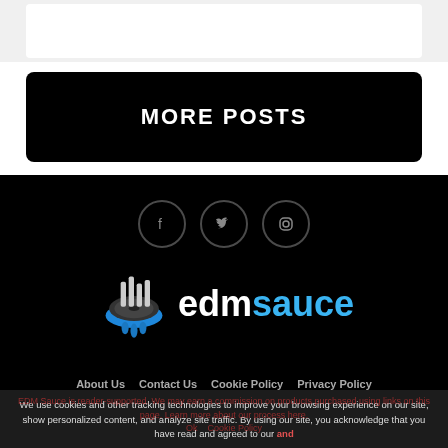MORE POSTS
[Figure (logo): EDM Sauce logo with social media icons (Facebook, Twitter, Instagram) and site navigation links]
About Us   Contact Us   Cookie Policy   Privacy Policy
We use cookies and other tracking technologies to improve your browsing experience on our site, show personalized content, and analyze site traffic. By using our site, you acknowledge that you have read and agreed to our and
EDM Sauce is reader-supported. We may earn a commission on products purchased using links on this page. Learn more about our process here.
Ok   Cookie Policy